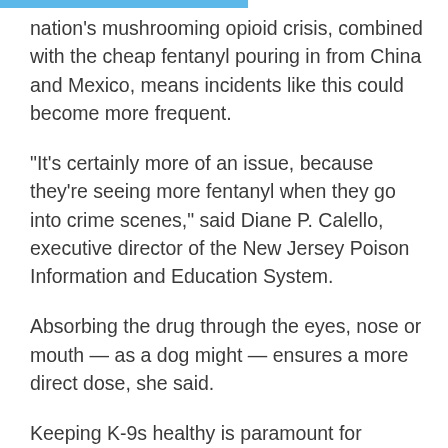nation's mushrooming opioid crisis, combined with the cheap fentanyl pouring in from China and Mexico, means incidents like this could become more frequent.
"It's certainly more of an issue, because they're seeing more fentanyl when they go into crime scenes," said Diane P. Calello, executive director of the New Jersey Poison Information and Education System.
Absorbing the drug through the eyes, nose or mouth — as a dog might — ensures a more direct dose, she said.
Keeping K-9s healthy is paramount for officers and agencies — beyond the obvious emotional bond tethering handlers and their dogs, departments invest extraordinary amounts of time and money in each animal. The dogs are bought mostly from Eastern Europe for $7,000 to $10,000 and typically require at least six months of initial training and countless hours afterward, depending on their job, police said.